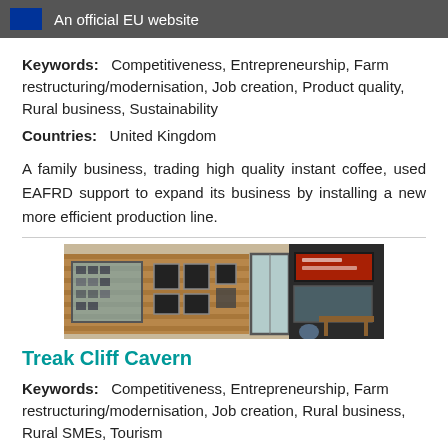An official EU website
Keywords:   Competitiveness, Entrepreneurship, Farm restructuring/modernisation, Job creation, Product quality, Rural business, Sustainability
Countries:   United Kingdom
A family business, trading high quality instant coffee, used EAFRD support to expand its business by installing a new more efficient production line.
[Figure (photo): Exterior of a rural shop/cafe with wooden cladding, display windows showing products, and a glass door entrance.]
Treak Cliff Cavern
Keywords:   Competitiveness, Entrepreneurship, Farm restructuring/modernisation, Job creation, Rural business, Rural SMEs, Tourism